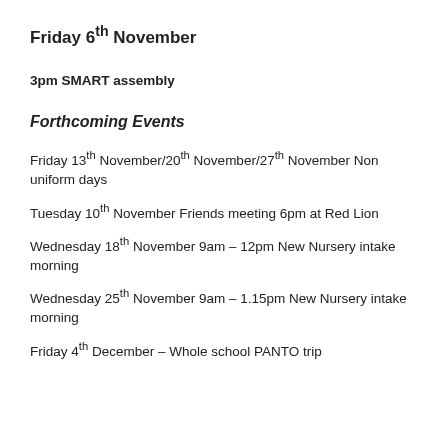Friday 6th November
3pm SMART assembly
Forthcoming Events
Friday 13th November/20th November/27th November Non uniform days
Tuesday 10th November Friends meeting 6pm at Red Lion
Wednesday 18th November 9am – 12pm New Nursery intake morning
Wednesday 25th November 9am – 1.15pm New Nursery intake morning
Friday 4th December – Whole school PANTO trip